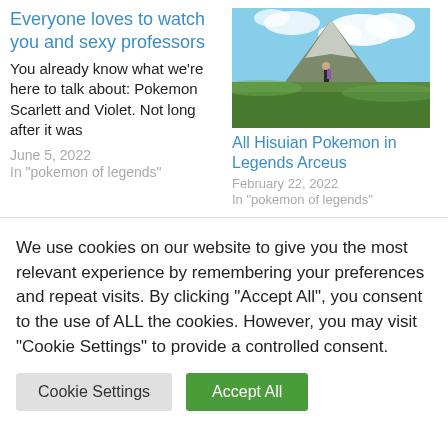Everyone loves to watch you and sexy professors
You already know what we're here to talk about: Pokemon Scarlett and Violet. Not long after it was
June 5, 2022
In "pokemon of legends"
[Figure (photo): Anime-style landscape with a figure standing in a green field with a mountain and clouds in background]
All Hisuian Pokemon in Legends Arceus
February 22, 2022
In "pokemon of legends"
We use cookies on our website to give you the most relevant experience by remembering your preferences and repeat visits. By clicking “Accept All”, you consent to the use of ALL the cookies. However, you may visit "Cookie Settings" to provide a controlled consent.
Cookie Settings
Accept All